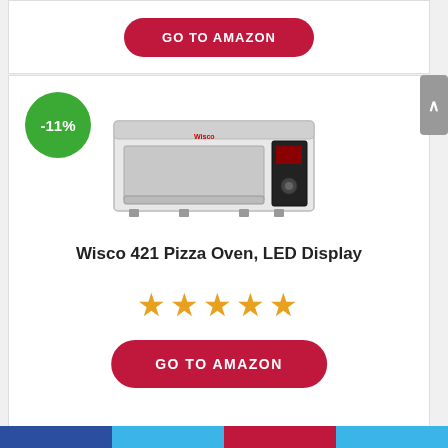[Figure (screenshot): Partial top card with GO TO AMAZON button on crimson rounded rectangle]
[Figure (photo): Wisco 421 Pizza Oven product image, stainless steel countertop pizza oven]
-11%
Wisco 421 Pizza Oven, LED Display
[Figure (other): 5 gold star rating]
GO TO AMAZON
[Figure (other): Bottom navigation bar with colored segments]